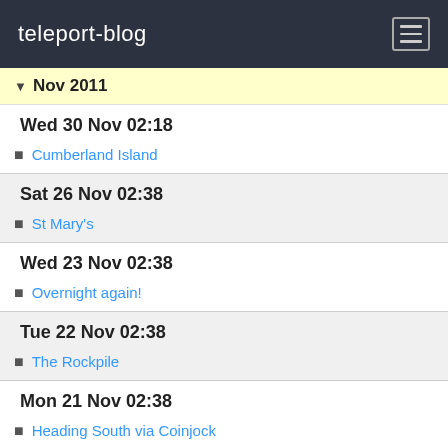teleport-blog
Nov 2011
Wed 30 Nov 02:18
Cumberland Island
Sat 26 Nov 02:38
St Mary's
Wed 23 Nov 02:38
Overnight again!
Tue 22 Nov 02:38
The Rockpile
Mon 21 Nov 02:38
Heading South via Coinjock
Sun 20 Nov 16:07
photos along ICW
Fri 18 Nov 16:21
photos